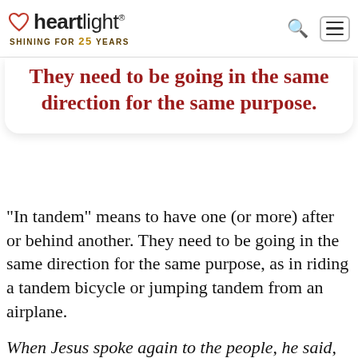heartlight® — SHINING FOR 25 YEARS
They need to be going in the same direction for the same purpose.
"In tandem" means to have one (or more) after or behind another. They need to be going in the same direction for the same purpose, as in riding a tandem bicycle or jumping tandem from an airplane.
When Jesus spoke again to the people, he said, "I am the light of the world. Whoever follows me will never walk in darkness, but will have